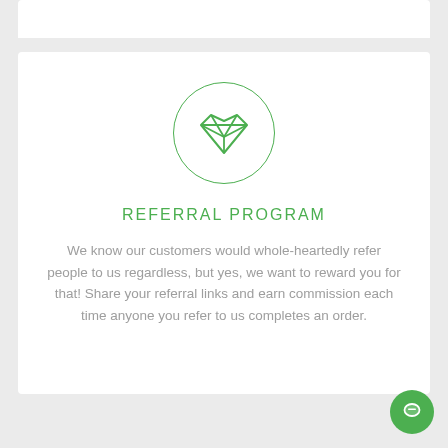[Figure (illustration): Green diamond gemstone icon inside a circular border, representing referral program]
REFERRAL PROGRAM
We know our customers would whole-heartedly refer people to us regardless, but yes, we want to reward you for that! Share your referral links and earn commission each time anyone you refer to us completes an order.